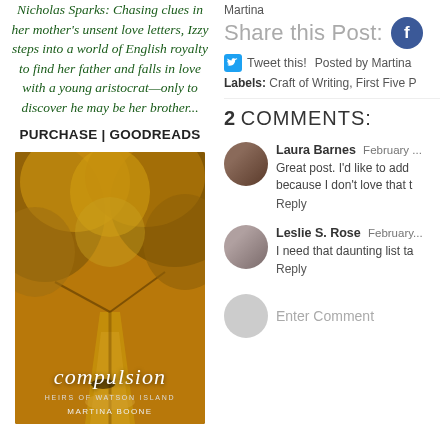Nicholas Sparks: Chasing clues in her mother's unsent love letters, Izzy steps into a world of English royalty to find her father and falls in love with a young aristocrat—only to discover he may be her brother...
PURCHASE | GOODREADS
[Figure (photo): Book cover of 'compulsion' by Martina Boone, Heirs of Watson Island series. Shows a tree-lined path with golden autumn foliage.]
Martina
Share this Post:
Tweet this!  Posted by Martina
Labels: Craft of Writing, First Five P
2 COMMENTS:
Laura Barnes  February ...
Great post. I'd like to add because I don't love that t
Reply
Leslie S. Rose  February...
I need that daunting list ta
Reply
Enter Comment